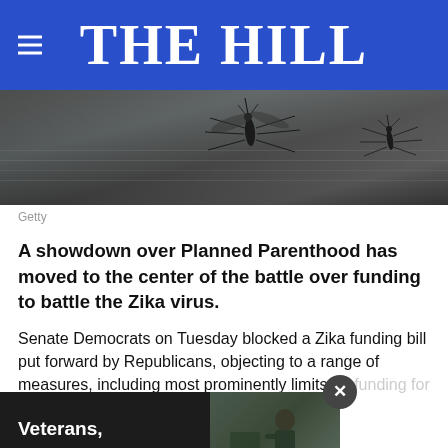THE HILL
[Figure (photo): Close-up photograph of mosquitoes on a surface, dark blueish-grey background]
Getty
A showdown over Planned Parenthood has moved to the center of the battle over funding to battle the Zika virus.
Senate Democrats on Tuesday blocked a Zika funding bill put forward by Republicans, objecting to a range of measures, including most prominently limits on funding for Planned Parenthood. The bill also Zika funding r provid
[Figure (screenshot): Advertisement overlay showing 'Veterans,' text over dark background with image of person]